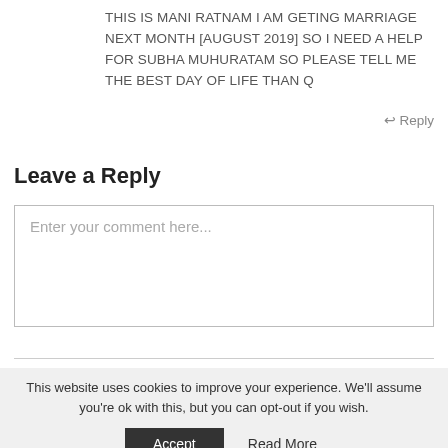THIS IS MANI RATNAM I AM GETING MARRIAGE NEXT MONTH [AUGUST 2019] SO I NEED A HELP FOR SUBHA MUHURATAM SO PLEASE TELL ME THE BEST DAY OF LIFE THAN Q
↩ Reply
Leave a Reply
Enter your comment here...
This website uses cookies to improve your experience. We'll assume you're ok with this, but you can opt-out if you wish.
Accept
Read More